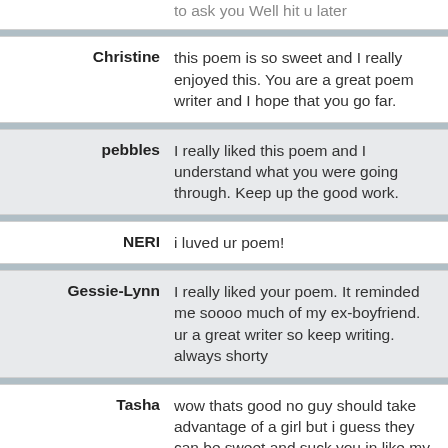to ask you Well hit u later
Christine: this poem is so sweet and I really enjoyed this. You are a great poem writer and I hope that you go far.
pebbles: I really liked this poem and I understand what you were going through. Keep up the good work.
NERI: i luved ur poem!
Gessie-Lynn: I really liked your poem. It reminded me soooo much of my ex-boyfriend. ur a great writer so keep writing. always shorty
Tasha: wow thats good no guy should take advantage of a girl but i guess they can be sweet and suck you in like my boyfriend well im really sorry 4 what he did.